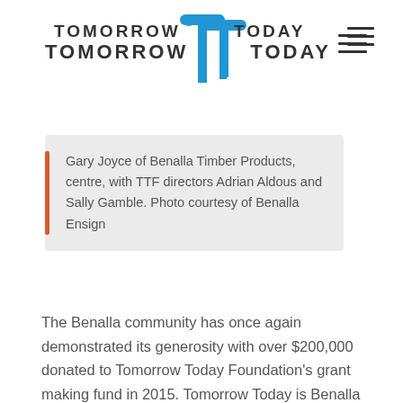TOMORROW TODAY
Gary Joyce of Benalla Timber Products, centre, with TTF directors Adrian Aldous and Sally Gamble. Photo courtesy of Benalla Ensign
The Benalla community has once again demonstrated its generosity with over $200,000 donated to Tomorrow Today Foundation's grant making fund in 2015. Tomorrow Today is Benalla and districts community foundation, dedicated to building a stronger and more resilient community.